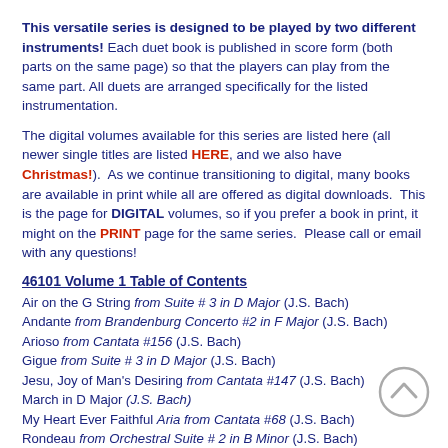This versatile series is designed to be played by two different instruments! Each duet book is published in score form (both parts on the same page) so that the players can play from the same part. All duets are arranged specifically for the listed instrumentation.
The digital volumes available for this series are listed here (all newer single titles are listed HERE, and we also have Christmas!). As we continue transitioning to digital, many books are available in print while all are offered as digital downloads. This is the page for DIGITAL volumes, so if you prefer a book in print, it might on the PRINT page for the same series. Please call or email with any questions!
46101 Volume 1 Table of Contents
Air on the G String from Suite # 3 in D Major (J.S. Bach)
Andante from Brandenburg Concerto #2 in F Major (J.S. Bach)
Arioso from Cantata #156 (J.S. Bach)
Gigue from Suite # 3 in D Major (J.S. Bach)
Jesu, Joy of Man's Desiring from Cantata #147 (J.S. Bach)
March in D Major (J.S. Bach)
My Heart Ever Faithful Aria from Cantata #68 (J.S. Bach)
Rondeau from Orchestral Suite # 2 in B Minor (J.S. Bach)
Sheep May Safely Graze from Cantata #208 (J.S. Bach)
Variations on a Theme of Haydn, Sicilienne & St Anthony Chorale (Brahms)
[Figure (illustration): Back to top arrow button (circle with upward chevron)]